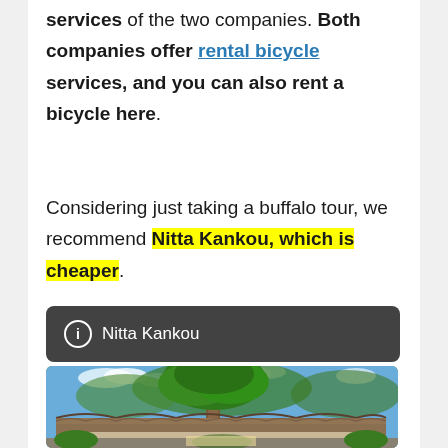services of the two companies. Both companies offer rental bicycle services, and you can also rent a bicycle here.
Considering just taking a buffalo tour, we recommend Nitta Kankou, which is cheaper.
ℹ Nitta Kankou
[Figure (photo): Photo of a traditional building with a curved tiled roof and a large tree in the background under a blue sky with clouds. Appears to be a Japanese-style structure, likely Nitta Kankou establishment.]